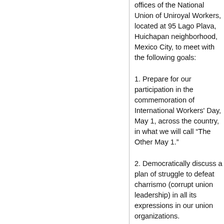offices of the National Union of Uniroyal Workers, located at 95 Lago Plava, Huichapan neighborhood, Mexico City, to meet with the following goals:
1. Prepare for our participation in the commemoration of International Workers' Day, May 1, across the country, in what we will call “The Other May 1.”
2. Democratically discuss a plan of struggle to defeat charrismo (corrupt union leadership) in all its expressions in our union organizations.
3. Promote the formation of a democratic, class-conscious, fighting international organization.